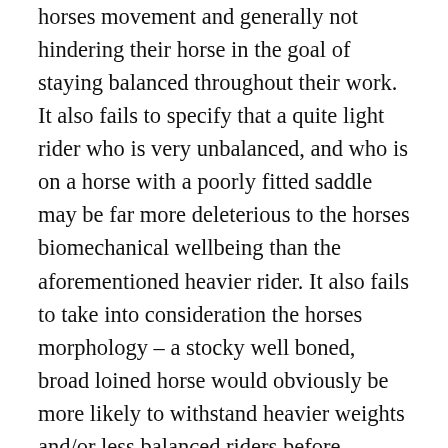horses movement and generally not hindering their horse in the goal of staying balanced throughout their work. It also fails to specify that a quite light rider who is very unbalanced, and who is on a horse with a poorly fitted saddle may be far more deleterious to the horses biomechanical wellbeing than the aforementioned heavier rider. It also fails to take into consideration the horses morphology – a stocky well boned, broad loined horse would obviously be more likely to withstand heavier weights and/or less balanced riders before soreness occurs than a fine boned, narrower horse would. Fitness also likely plays a part and a horse who has been properly and gradually conditioned with biomechanically correct work, is likely to hold up to heavier rider weights better than a poorly conditioned horse, working with the topline hollowed, who was pulled out of the paddock and asked to go out for a